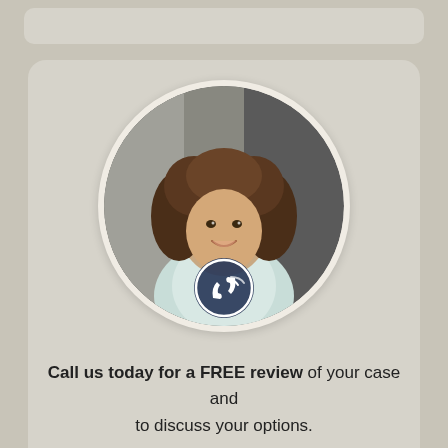[Figure (photo): Circular cropped photo of a smiling young woman with curly brown hair wearing a light blue/white top, set against a blurred laboratory/office background. A phone call icon (white phone with signal waves on a dark circular background) is overlaid at the bottom center of the circular photo.]
Call us today for a FREE review of your case and to discuss your options.